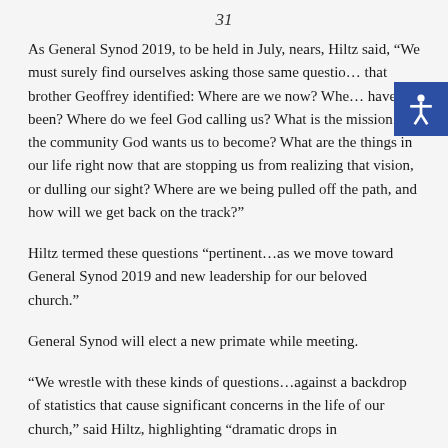31
As General Synod 2019, to be held in July, nears, Hiltz said, “We must surely find ourselves asking those same questions that brother Geoffrey identified: Where are we now? Where have we been? Where do we feel God calling us? What is the mission of the community God wants us to become? What are the things in our life right now that are stopping us from realizing that vision, or dulling our sight? Where are we being pulled off the path, and how will we get back on the track?”
Hiltz termed these questions “pertinent…as we move toward General Synod 2019 and new leadership for our beloved church.”
General Synod will elect a new primate while meeting.
“We wrestle with these kinds of questions…against a backdrop of statistics that cause significant concerns in the life of our church,” said Hiltz, highlighting “dramatic drops in